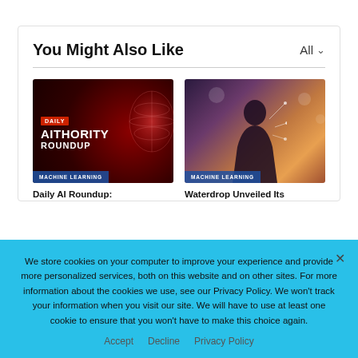You Might Also Like
[Figure (screenshot): Thumbnail image for Daily AI Roundup article — dark red background with globe graphic and text 'DAILY AITHORITY ROUNDUP']
[Figure (photo): Thumbnail image for Waterdrop article — person silhouetted against city lights with network connection lines overlay]
Daily AI Roundup:
Waterdrop Unveiled Its
We store cookies on your computer to improve your experience and provide more personalized services, both on this website and on other sites. For more information about the cookies we use, see our Privacy Policy. We won't track your information when you visit our site. We will have to use at least one cookie to ensure that you won't have to make this choice again.
Accept   Decline   Privacy Policy